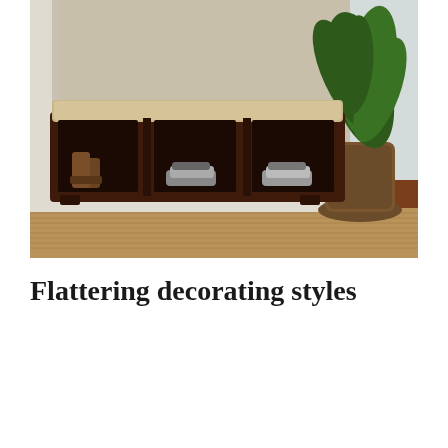[Figure (photo): A dark wood storage bench with a beige cushion seat and three open cubbies at the bottom, each containing pairs of shoes. The bench sits on a hardwood floor with a woven jute rug, next to a large potted tropical plant by a window.]
Flattering decorating styles